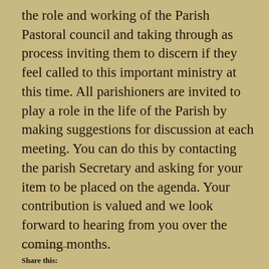the role and working of the Parish Pastoral council and taking through as process inviting them to discern if they feel called to this important ministry at this time. All parishioners are invited to play a role in the life of the Parish by making suggestions for discussion at each meeting. You can do this by contacting the parish Secretary and asking for your item to be placed on the agenda. Your contribution is valued and we look forward to hearing from you over the coming months.
Share this: